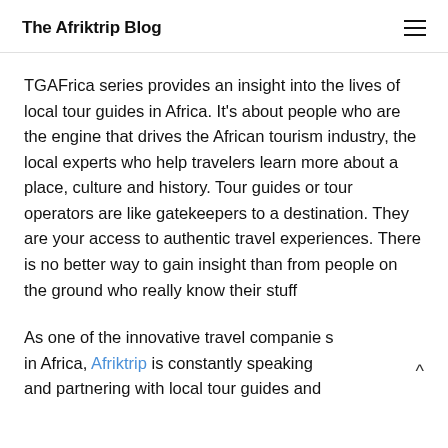The Afriktrip Blog
TGAFrica series provides an insight into the lives of local tour guides in Africa. It's about people who are the engine that drives the African tourism industry, the local experts who help travelers learn more about a place, culture and history. Tour guides or tour operators are like gatekeepers to a destination. They are your access to authentic travel experiences. There is no better way to gain insight than from people on the ground who really know their stuff
As one of the innovative travel companies in Africa, Afriktrip is constantly speaking and partnering with local tour guides and